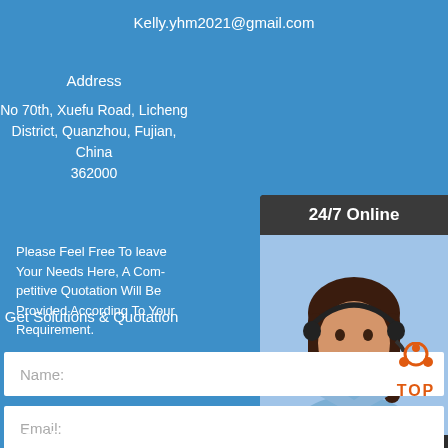Kelly.yhm2021@gmail.com
Address
No 70th, Xuefu Road, Licheng District, Quanzhou, Fujian, China 362000
Please Feel Free To leave Your Needs Here, A Competitive Quotation Will Be Provided According To Your Requirement.
Get Solutions & Quotation
[Figure (photo): Customer service representative with headset, 24/7 Online chat widget with QUOTATION button]
Name:
Email:
Please Enter Other Contact Information